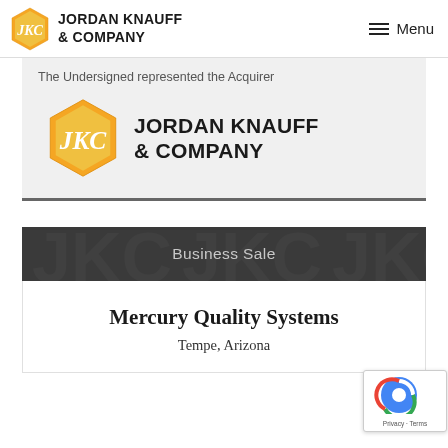Jordan Knauff & Company — Menu
The Undersigned represented the Acquirer
[Figure (logo): Jordan Knauff & Company logo with hexagonal JKC emblem]
Business Sale
Mercury Quality Systems
Tempe, Arizona